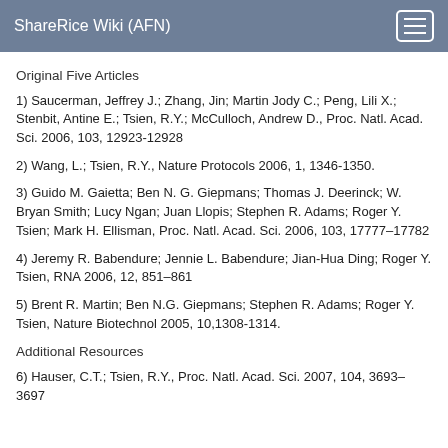ShareRice Wiki (AFN)
Original Five Articles
1) Saucerman, Jeffrey J.; Zhang, Jin; Martin Jody C.; Peng, Lili X.; Stenbit, Antine E.; Tsien, R.Y.; McCulloch, Andrew D., Proc. Natl. Acad. Sci. 2006, 103, 12923-12928
2) Wang, L.; Tsien, R.Y., Nature Protocols 2006, 1, 1346-1350.
3) Guido M. Gaietta; Ben N. G. Giepmans; Thomas J. Deerinck; W. Bryan Smith; Lucy Ngan; Juan Llopis; Stephen R. Adams; Roger Y. Tsien; Mark H. Ellisman, Proc. Natl. Acad. Sci. 2006, 103, 17777–17782
4) Jeremy R. Babendure; Jennie L. Babendure; Jian-Hua Ding; Roger Y. Tsien, RNA 2006, 12, 851–861
5) Brent R. Martin; Ben N.G. Giepmans; Stephen R. Adams; Roger Y. Tsien, Nature Biotechnol 2005, 10,1308-1314.
Additional Resources
6) Hauser, C.T.; Tsien, R.Y., Proc. Natl. Acad. Sci. 2007, 104, 3693–3697